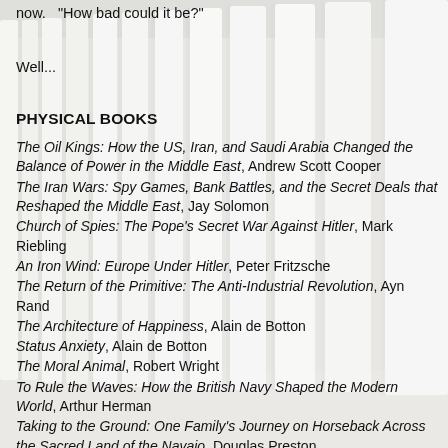now.  "How bad could it be?"
Well...
PHYSICAL BOOKS
The Oil Kings: How the US, Iran, and Saudi Arabia Changed the Balance of Power in the Middle East, Andrew Scott Cooper
The Iran Wars: Spy Games, Bank Battles, and the Secret Deals that Reshaped the Middle East, Jay Solomon
Church of Spies: The Pope's Secret War Against Hitler, Mark Riebling
An Iron Wind: Europe Under Hitler, Peter Fritzsche
The Return of the Primitive: The Anti-Industrial Revolution, Ayn Rand
The Architecture of Happiness, Alain de Botton
Status Anxiety, Alain de Botton
The Moral Animal, Robert Wright
To Rule the Waves: How the British Navy Shaped the Modern World, Arthur Herman
Taking to the Ground: One Family's Journey on Horseback Across the Sacred Land of the Navajo, Douglas Preston